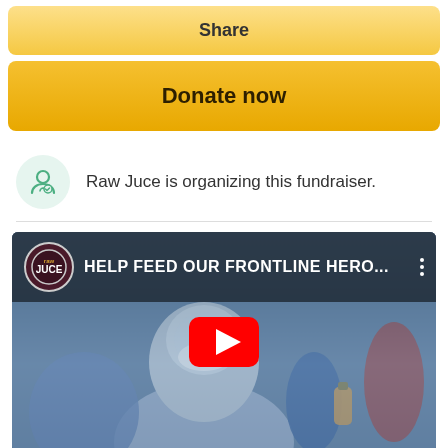Share
Donate now
Raw Juce is organizing this fundraiser.
[Figure (screenshot): YouTube video thumbnail showing a healthcare worker in PPE holding a juice bottle, with Raw Juce logo and title 'HELP FEED OUR FRONTLINE HERO...' overlaid at top, and a red YouTube play button in the center.]